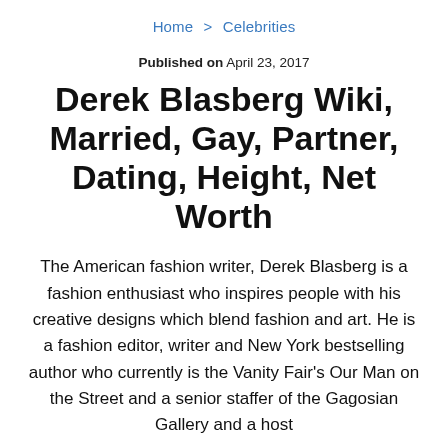Home > Celebrities
Published on April 23, 2017
Derek Blasberg Wiki, Married, Gay, Partner, Dating, Height, Net Worth
The American fashion writer, Derek Blasberg is a fashion enthusiast who inspires people with his creative designs which blend fashion and art. He is a fashion editor, writer and New York bestselling author who currently is the Vanity Fair's Our Man on the Street and a senior staffer of the Gagosian Gallery and a host